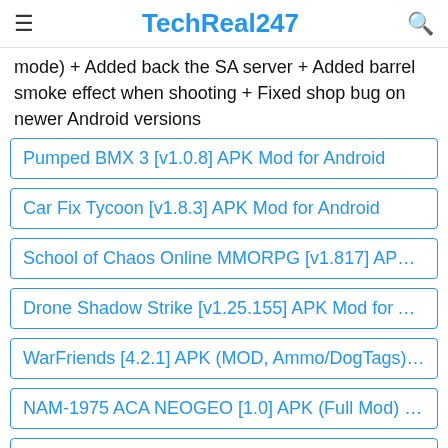TechReal247
mode) + Added back the SA server + Added barrel smoke effect when shooting + Fixed shop bug on newer Android versions
Pumped BMX 3 [v1.0.8] APK Mod for Android
Car Fix Tycoon [v1.8.3] APK Mod for Android
School of Chaos Online MMORPG [v1.817] APK M...
Drone Shadow Strike [v1.25.155] APK Mod for And...
WarFriends [4.2.1] APK (MOD, Ammo/DogTags) fr...
NAM-1975 ACA NEOGEO [1.0] APK (Full Mod) + ...
Mr Bean – Special Delivery [v1.9.10] APK Mod for ...
Stock Car Racing [3.4.19] APK (MOD, Unlimited M...